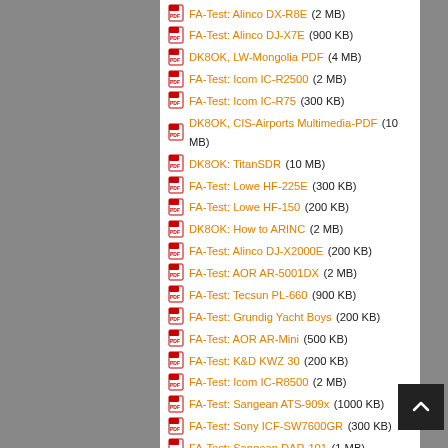FA-Test: Alinco DX-R8E (2 MB)
FA-Test: Alinco DJ-X7E (900 KB)
DK8OK, LW-Mongolia PDF (4 MB)
FA-Test: Icom IC-R2500 (2 MB)
FA-Test: Icom IC-R75 (300 KB)
DK8OK, CIS-Airports Multimedia-PDF (10 MB)
DK8OK: TitanSDR (10 MB)
FA-Test: Lowe HF-225E (300 KB)
FA-Test: Lowe HF-150 (200 KB)
DK8OK: How to ARINC (2 MB)
FA-Test: Alinco DJ-X2000E (200 KB)
FA-Test: AOR AR-5001DX (2 MB)
FA-Test: Tecsun PL-660 (900 KB)
FA-Test: Grundig Yacht Boys (200 KB)
FA-Test: AOR AR-Mini (500 KB)
FA-Test: K&D KWZ 30 (200 KB)
FA-Test: Icom IC-R8500 (2 MB)
FA-Test: Sangean ATS-909x (1000 KB)
FA-Test: Sony ICF-SW7600GR (300 KB)
FA-Test: Sangean DAR-101 (1 MB)
FA-Test: Icom IC-R9500 (2 MB)
FA-Test: JRC NRD-545 (300 KB)
FA-Test: Tecsun PL-880 (2 MB)
DK8OK: Intruder Watch Monitoring (10 MB)
DK8OK: Funcube2 Multimedia-PDF (30 MB)